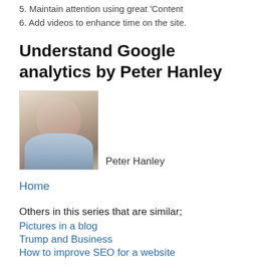5. Maintain attention using great Content
6. Add videos to enhance time on the site.
Understand Google analytics by Peter Hanley
[Figure (photo): Portrait photo of Peter Hanley, an older man with gray hair wearing a light blue shirt]
Peter Hanley
Home
Others in this series that are similar;
Pictures in a blog
Trump and Business
How to improve SEO for a website